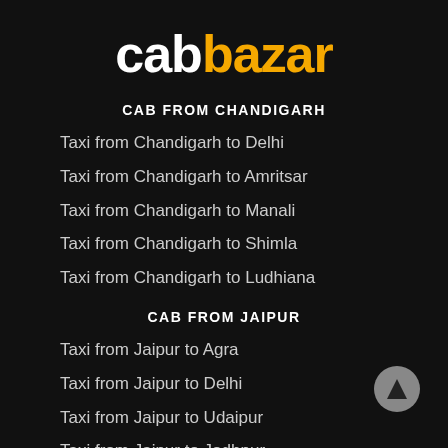cabbazar
CAB FROM CHANDIGARH
Taxi from Chandigarh to Delhi
Taxi from Chandigarh to Amritsar
Taxi from Chandigarh to Manali
Taxi from Chandigarh to Shimla
Taxi from Chandigarh to Ludhiana
CAB FROM JAIPUR
Taxi from Jaipur to Agra
Taxi from Jaipur to Delhi
Taxi from Jaipur to Udaipur
Taxi from Jaipur to Jodhpur
Taxi from Jaipur to Ajmer
CAB FROM GURGAON